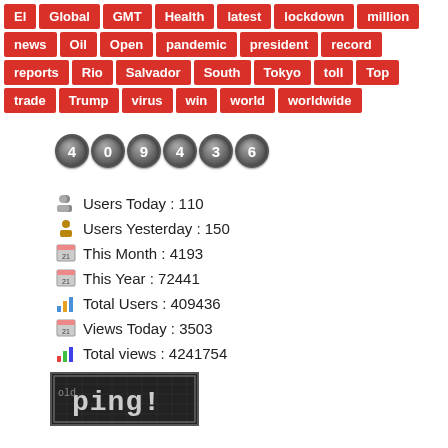[Figure (infographic): Tag cloud with red pill-shaped tags: El, Global, GMT, Health, latest, lockdown, million, news, Oil, Open, pandemic, president, record, reports, Rio, Salvador, South, Tokyo, toll, Top, trade, Trump, virus, win, world, worldwide]
[Figure (infographic): Odometer display showing digits 4 0 9 4 3 6 in circular metallic buttons]
Users Today : 110
Users Yesterday : 150
This Month : 4193
This Year : 72441
Total Users : 409436
Views Today : 3503
Total views : 4241754
[Figure (logo): ping! badge/logo on dark background with grid pattern]